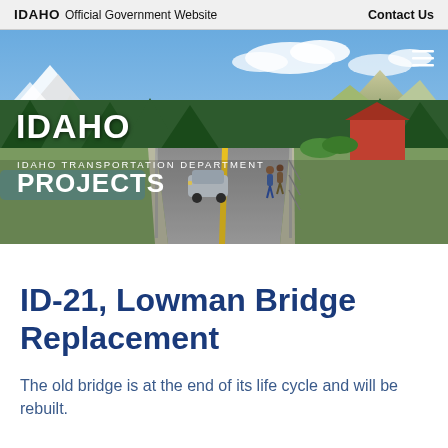IDAHO  Official Government Website    Contact Us
[Figure (photo): Hero banner image showing a road/bridge rendering with Idaho Transportation Department branding overlay. Shows a two-lane road with yellow centerline, mountains, trees, and green landscape. IDAHO logo with mountain graphic at top left, menu hamburger icon at top right. Text overlay reads: IDAHO TRANSPORTATION DEPARTMENT / PROJECTS]
ID-21, Lowman Bridge Replacement
The old bridge is at the end of its life cycle and will be rebuilt.